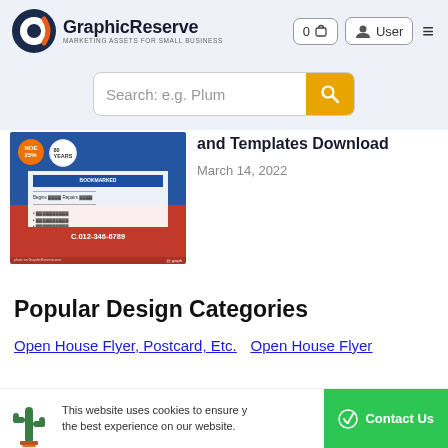[Figure (logo): GraphicReserve logo with circular G icon and tagline MARKETING ASSETS FOR SMALL BUSINESS]
0  User  ≡
Search: e.g. Plum
[Figure (photo): Flyer design with blue and red background, badges, and phone number C.012-346-6789]
and Templates Download
March 14, 2022
Popular Design Categories
Open House Flyer, Postcard, Etc.
Open House Flyer
This website uses cookies to ensure you get the best experience on our website.
Contact Us